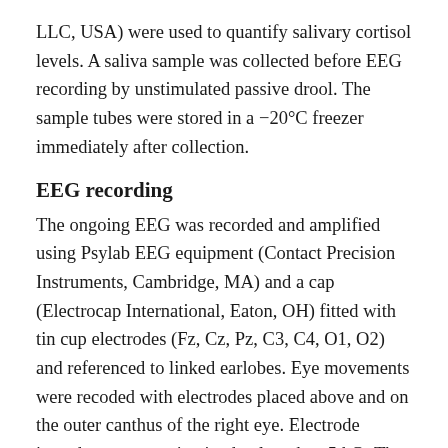LLC, USA) were used to quantify salivary cortisol levels. A saliva sample was collected before EEG recording by unstimulated passive drool. The sample tubes were stored in a −20°C freezer immediately after collection.
EEG recording
The ongoing EEG was recorded and amplified using Psylab EEG equipment (Contact Precision Instruments, Cambridge, MA) and a cap (Electrocap International, Eaton, OH) fitted with tin cup electrodes (Fz, Cz, Pz, C3, C4, O1, O2) and referenced to linked earlobes. Eye movements were recoded with electrodes placed above and on the outer canthus of the right eye. Electrode impedance was maintained at less than 5 kΩ. The EEG amplifier was set at a gain of 30,000 and the EEG was